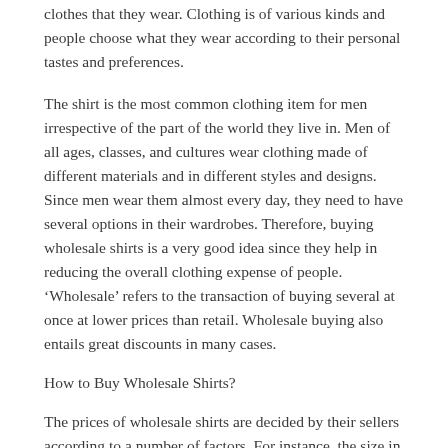clothes that they wear. Clothing is of various kinds and people choose what they wear according to their personal tastes and preferences.
The shirt is the most common clothing item for men irrespective of the part of the world they live in. Men of all ages, classes, and cultures wear clothing made of different materials and in different styles and designs. Since men wear them almost every day, they need to have several options in their wardrobes. Therefore, buying wholesale shirts is a very good idea since they help in reducing the overall clothing expense of people. ‘Wholesale’ refers to the transaction of buying several at once at lower prices than retail. Wholesale buying also entails great discounts in many cases.
How to Buy Wholesale Shirts?
The prices of wholesale shirts are decided by their sellers according to a number of factors. For instance, the size in any particular lot has a significant bearing on the cost of that particular lot. The reason why wholesaler is able to offer at low prices is because they source directly from the manufacturer